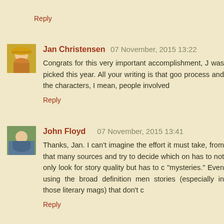Reply
Jan Christensen 07 November, 2015 13:22
Congrats for this very important accomplishment, J was picked this year. All your writing is that goo process and the characters, I mean, people involved
Reply
John Floyd 07 November, 2015 13:41
Thanks, Jan. I can't imagine the effort it must take, from that many sources and try to decide which on has to not only look for story quality but has to c "mysteries." Even using the broad definition men stories (especially in those literary mags) that don't c
Reply